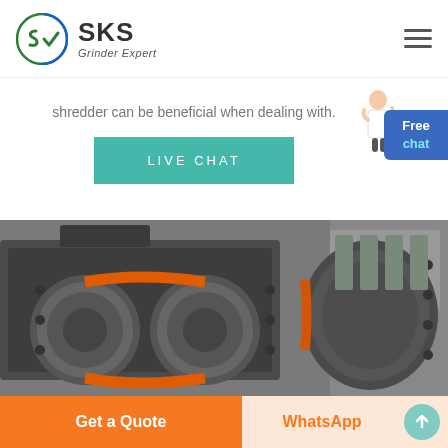[Figure (logo): SKS Grinder Expert logo with circular green/blue icon and hamburger menu icon]
shredder can be beneficial when dealing with.
LIVE CHAT
[Figure (photo): Industrial shredder machine with dual rollers, orange belts, and dark grey metal housing in a factory setting]
Get a Quote
WhatsApp